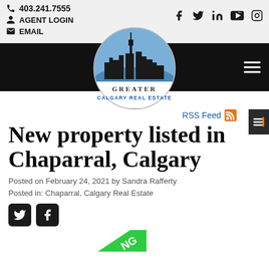403.241.7555 | AGENT LOGIN | EMAIL
[Figure (logo): Greater Calgary Real Estate logo — circular logo with city skyline silhouette in blue/black and text GREATER CALGARY REAL ESTATE]
RSS Feed
New property listed in Chaparral, Calgary
Posted on February 24, 2021 by Sandra Rafferty
Posted in: Chaparral, Calgary Real Estate
[Figure (illustration): Twitter and Facebook share icon buttons (dark square rounded icons)]
[Figure (illustration): Green banner/badge partially visible at bottom of page with letters NG visible]